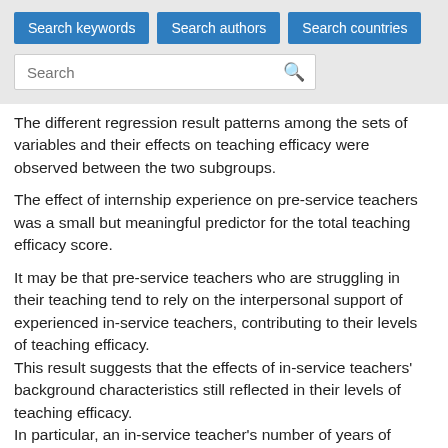Search keywords | Search authors | Search countries
The different regression result patterns among the sets of variables and their effects on teaching efficacy were observed between the two subgroups.
The effect of internship experience on pre-service teachers was a small but meaningful predictor for the total teaching efficacy score.
It may be that pre-service teachers who are struggling in their teaching tend to rely on the interpersonal support of experienced in-service teachers, contributing to their levels of teaching efficacy.
This result suggests that the effects of in-service teachers' background characteristics still reflected in their levels of teaching efficacy.
In particular, an in-service teacher's number of years of teaching was found to be predictive of their teaching efficacy. In accordance, in-service teachers' income was found to be a